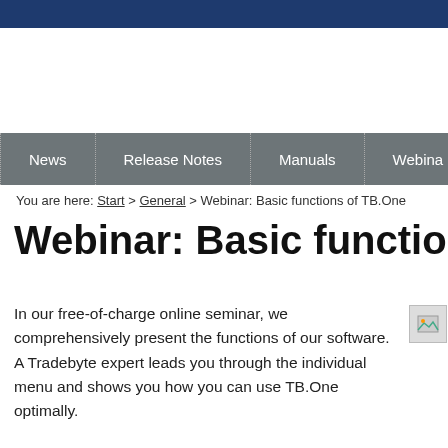News | Release Notes | Manuals | Webinar
You are here: Start > General > Webinar: Basic functions of TB.One
Webinar: Basic functions of
In our free-of-charge online seminar, we comprehensively present the functions of our software. A Tradebyte expert leads you through the individual menu and shows you how you can use TB.One optimally.
[Figure (photo): Small image placeholder icon]